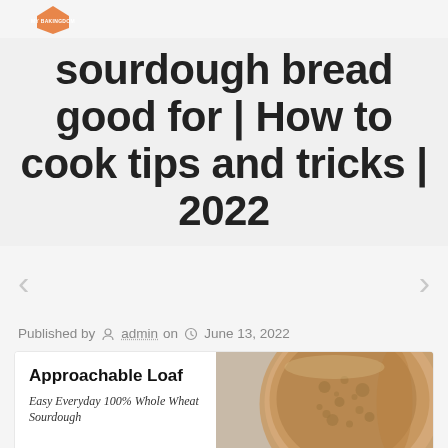MY BAKINGDOM
sourdough bread good for | How to cook tips and tricks | 2022
[Figure (other): Slider navigation arrows (left and right chevrons)]
Published by admin on June 13, 2022
[Figure (photo): Approachable Loaf - Easy Everyday 100% Whole Wheat Sourdough - image of a sliced sourdough bread loaf showing the crumb texture]
Approachable Loaf
Easy Everyday 100% Whole Wheat Sourdough